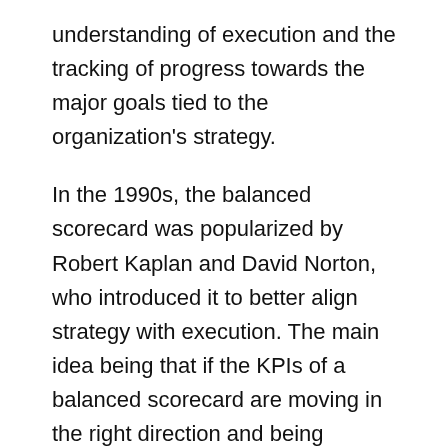understanding of execution and the tracking of progress towards the major goals tied to the organization's strategy.
In the 1990s, the balanced scorecard was popularized by Robert Kaplan and David Norton, who introduced it to better align strategy with execution. The main idea being that if the KPIs of a balanced scorecard are moving in the right direction and being achieved, then an organization's strategy is also being achieved. Typically, both short-term (quarterly or annual) and long-term (annual, 3 or 5 year) goals are represented on the balanced scorecard, along with actual performance.